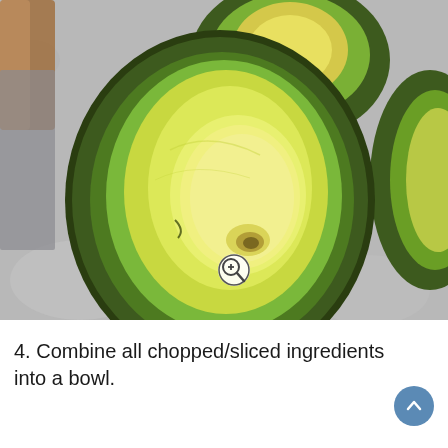[Figure (photo): Close-up overhead photo of a halved avocado with the pit removed, showing the yellow-green flesh and dark green skin. In the background are other avocado halves and a knife on a marble surface. A zoom/magnify icon appears at the bottom center.]
4. Combine all chopped/sliced ingredients into a bowl.